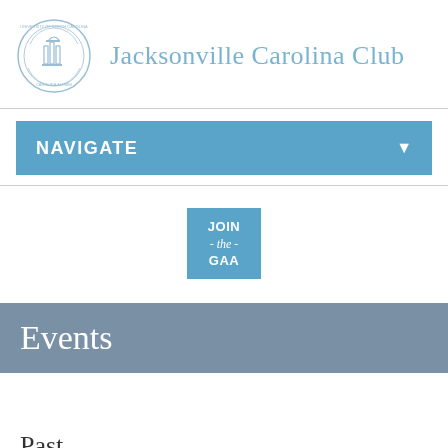[Figure (logo): University of North Carolina circular seal/logo in light blue]
Jacksonville Carolina Club
[Figure (other): NAVIGATE dropdown navigation bar in blue]
[Figure (other): JOIN the GAA button in blue square]
Events
Past